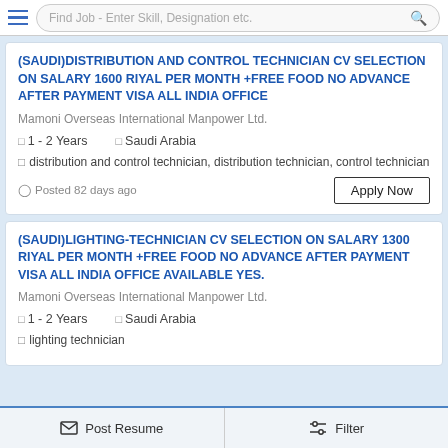Find Job - Enter Skill, Designation etc.
(SAUDI)DISTRIBUTION AND CONTROL TECHNICIAN CV SELECTION ON SALARY 1600 RIYAL PER MONTH +FREE FOOD NO ADVANCE AFTER PAYMENT VISA ALL INDIA OFFICE
Mamoni Overseas International Manpower Ltd.
1 - 2 Years   Saudi Arabia
distribution and control technician, distribution technician, control technician
Posted 82 days ago
(SAUDI)LIGHTING-TECHNICIAN CV SELECTION ON SALARY 1300 RIYAL PER MONTH +FREE FOOD NO ADVANCE AFTER PAYMENT VISA ALL INDIA OFFICE AVAILABLE YES.
Mamoni Overseas International Manpower Ltd.
1 - 2 Years   Saudi Arabia
lighting technician
Post Resume   Filter